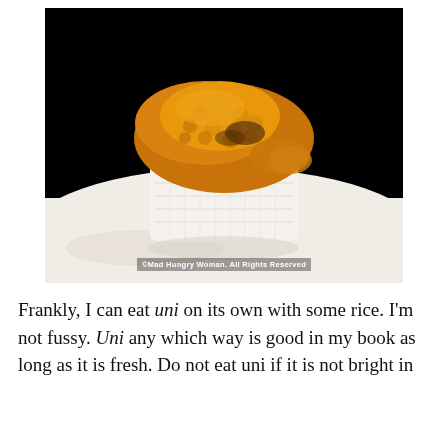[Figure (photo): Close-up photo of a piece of uni (sea urchin roe) nigiri sushi on a white plate. The golden-orange uni is piled on top of a rectangular block of white sushi rice. The background is black. A watermark reads '©Mad Hungry Woman. All Rights Reserved'.]
Frankly, I can eat uni on its own with some rice. I'm not fussy. Uni any which way is good in my book as long as it is fresh. Do not eat uni if it is not bright in